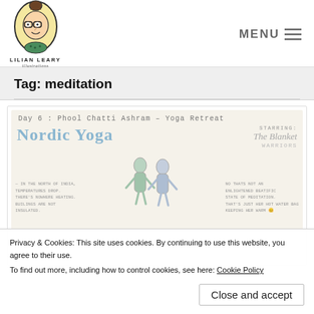[Figure (logo): Lilian Leary Illustrations logo: cartoon face in oval with glasses, handwritten brand name below]
MENU ≡
Tag: meditation
[Figure (illustration): Hand-drawn illustration page: 'Day 6 : Phool Chatti Ashram - Yoga Retreat', 'Nordic Yoga', 'STARRING: The Blanket Warriors', with text about temperatures in North India and figures in yoga poses under blankets]
Privacy & Cookies: This site uses cookies. By continuing to use this website, you agree to their use.
To find out more, including how to control cookies, see here: Cookie Policy
Close and accept